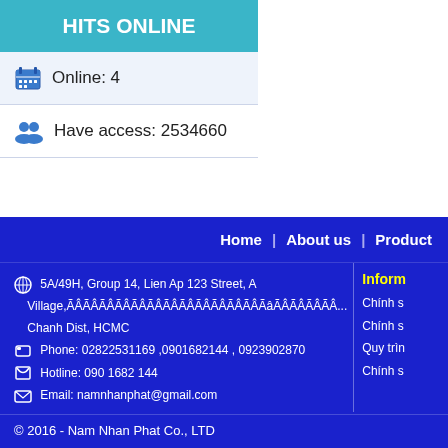HITS ONLINE
Online: 4
Have access: 2534660
Home | About us | Product
5A/49H, Group 14, Lien Ap 123 Street, A Village, Chanh Dist, HCMC
Phone: 02822531169 ,0901682144 , 0923902870
Hotline: 090 1682 144
Email: namnhanphat@gmail.com
Inform
Chính s
Chính s
Quy trìn
Chính s
© 2016 - Nam Nhan Phat Co., LTD